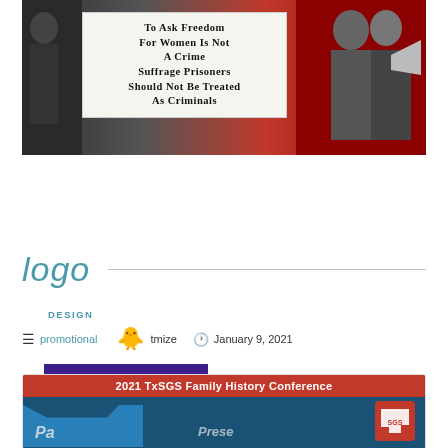[Figure (photo): Black and white historical photograph of women suffrage protesters, with a sign reading 'To Ask Freedom For Women Is Not A Crime Suffrage Prisoners Should Not Be Treated As Criminals' against a red background]
READ MORE
logo
DESIGN
promotional
tmize
January 9, 2021
[Figure (photo): 2021 TxSGS Family History Conference promotional image with red header banner, blue puzzle piece background, and Texas SGS logo]